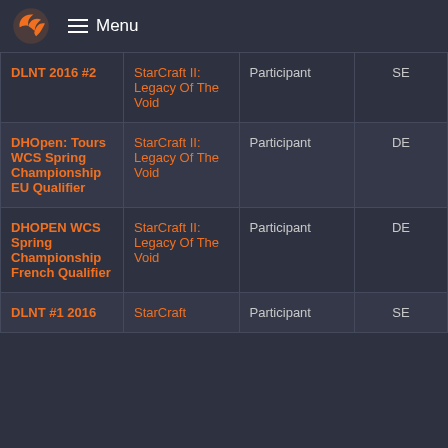Menu
| Tournament | Game | Role | Region |
| --- | --- | --- | --- |
| DLNT 2016 #2 | StarCraft II: Legacy Of The Void | Participant | SE |
| DHOpen: Tours WCS Spring Championship EU Qualifier | StarCraft II: Legacy Of The Void | Participant | DE |
| DHOPEN WCS Spring Championship French Qualifier | StarCraft II: Legacy Of The Void | Participant | DE |
| DLNT #1 2016 | StarCraft | Participant | SE |